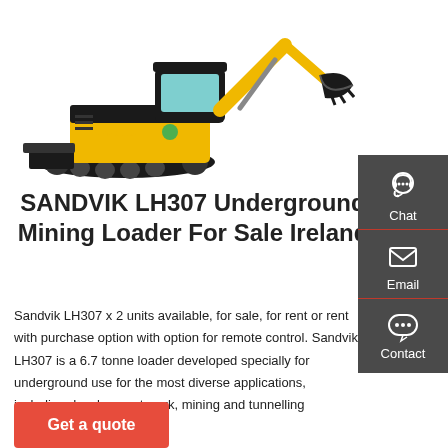[Figure (photo): Yellow Xekoda mini excavator / tracked loader with bucket arm, front blade, and cab — product photo on white background]
SANDVIK LH307 Underground Mining Loader For Sale Ireland
Sandvik LH307 x 2 units available, for sale, for rent or rent with purchase option with option for remote control. Sandvik LH307 is a 6.7 tonne loader developed specially for underground use for the most diverse applications, including development work, mining and tunnelling construction.
[Figure (infographic): Sidebar with dark grey background containing three stacked items: Chat (headset icon), Email (envelope icon), Contact (speech bubble icon), separated by red lines]